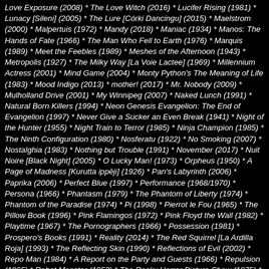Love Exposure (2008) * The Love Witch (2016) * Lucifer Rising (1981) * Lunacy [Sileni] (2005) * The Lure [Córki Dancingu] (2015) * Maelstrom (2000) * Malpertuis (1972) * Mandy (2018) * Maniac (1934) * Manos: The Hands of Fate (1966) * The Man Who Fell to Earth (1976) * Marquis (1989) * Meet the Feebles (1989) * Meshes of the Afternoon (1943) * Metropolis (1927) * The Milky Way [La Voie Lactee] (1969) * Millennium Actress (2001) * Mind Game (2004) * Monty Python's The Meaning of Life (1983) * Mood Indigo (2013) * mother! (2017) * Mr. Nobody (2009) * Mulholland Drive (2001) * My Winnipeg (2007) * Naked Lunch (1991) * Natural Born Killers (1994) * Neon Genesis Evangelion: The End of Evangelion (1997) * Never Give a Sucker an Even Break (1941) * Night of the Hunter (1955) * Night Train to Terror (1985) * Ninja Champion (1985) * The Ninth Configuration (1980) * Nosferatu (1922) * No Smoking (2007) * Nostalghia (1983) * Nothing but Trouble (1991) * November (2017) * Nuit Noire [Black Night] (2005) * O Lucky Man! (1973) * Orpheus (1950) * A Page of Madness [Kurutta ippēji] (1926) * Pan's Labyrinth (2006) * Paprika (2006) * Perfect Blue (1997) * Performance (1968/1970) * Persona (1966) * Phantasm (1979) * The Phantom of Liberty (1974) * Phantom of the Paradise (1974) * Pi (1998) * Pierrot le Fou (1965) * The Pillow Book (1996) * Pink Flamingos (1972) * Pink Floyd the Wall (1982) * Playtime (1967) * The Pornographers (1966) * Possession (1981) * Prospero's Books (1991) * Reality (2014) * The Red Squirrel [La Ardilla Roja] (1993) * The Reflecting Skin (1990) * Reflections of Evil (2002) * Repo Man (1984) * A Report on the Party and Guests (1966) * Repulsion (1965) * Robot Monster (1953) * The Rocky Horror Picture Show (1975) * Roma (1972) [AKA Fellini's Roma] * Rosencrantz & Guildenstern Are Dead (1990) * Rubber